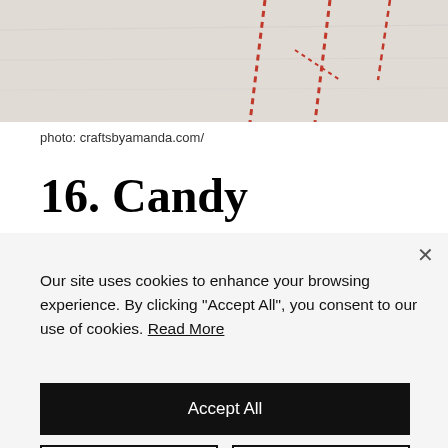[Figure (photo): Partial photo of a candy pompom garland craft project, showing red and white striped elements against a light textured background]
photo: craftsbyamanda.com/
16. Candy Pompom Garland
Our site uses cookies to enhance your browsing experience. By clicking "Accept All", you consent to our use of cookies. Read More
Accept All
Customize
Reject All